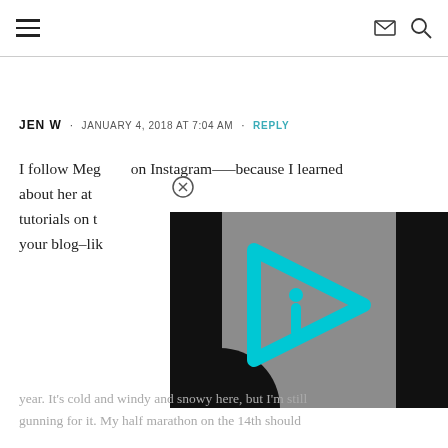Navigation bar with hamburger menu, mail icon, and search icon
JEN W · JANUARY 4, 2018 AT 7:04 AM · REPLY
I follow Meg on Instagram—-because I learned about her at tutorials on t your blog–lik
[Figure (other): Video player overlay with cyan/teal triangular play icon on gray background, flanked by black bars, with a close (X) circle button]
I'm on Strava Lululemon la year. It's cold and windy and snowy here, but I'm still gunning for it. My half marathon on the 14th should